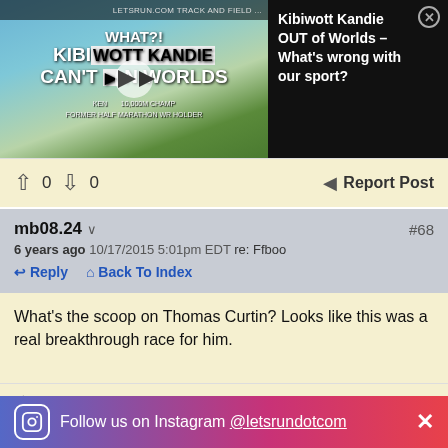[Figure (screenshot): Video thumbnail showing Kibiwott Kandie with text 'WHAT?! KIBIWOTT KANDIE CAN'T WIN WORLDS' and a play button overlay]
Kibiwott Kandie OUT of Worlds – What's wrong with our sport?
0  0  Report Post
mb08.24  #68
6 years ago 10/17/2015 5:01pm EDT re: Ffboo
Reply  Back To Index
What's the scoop on Thomas Curtin? Looks like this was a real breakthrough race for him.
0  0  Report Post
Get a grip dude  #69
6 years ago 10/17/2015 5:35pm EDT re: Ffboo
Reply  Back To Index
Follow us on Instagram @letsrundotcom